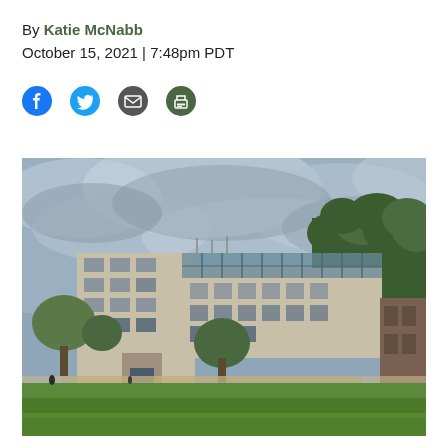By Katie McNabb
October 15, 2021 | 7:48pm PDT
[Figure (other): Social sharing icons: Facebook, Twitter, Email, Print]
[Figure (photo): Exterior photo of a large concrete university building on a cloudy day, surrounded by green lawn and trees, with a forested hillside in the background.]